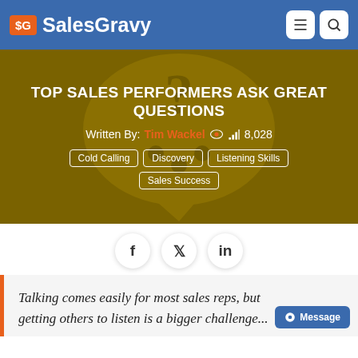$G SalesGravy
TOP SALES PERFORMERS ASK GREAT QUESTIONS
Written By: Tim Wackel  8,028
Cold Calling
Discovery
Listening Skills
Sales Success
[Figure (illustration): Speech bubble with question mark icon, dark golden background, social share buttons (f, twitter, linkedin)]
Talking comes easily for most sales reps, but getting others to listen is a bigger challenge...